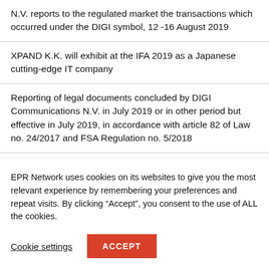N.V. reports to the regulated market the transactions which occurred under the DIGI symbol, 12 -16 August 2019
XPAND K.K. will exhibit at the IFA 2019 as a Japanese cutting-edge IT company
Reporting of legal documents concluded by DIGI Communications N.V. in July 2019 or in other period but effective in July 2019, in accordance with article 82 of Law no. 24/2017 and FSA Regulation no. 5/2018
Digi Communications N.V. Announces the availability of
EPR Network uses cookies on its websites to give you the most relevant experience by remembering your preferences and repeat visits. By clicking “Accept”, you consent to the use of ALL the cookies.
Cookie settings  ACCEPT